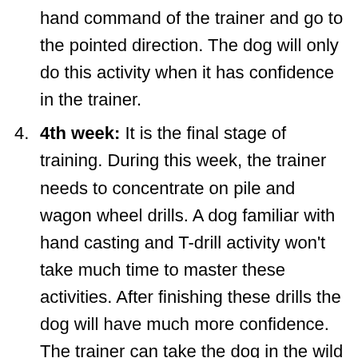hand command of the trainer and go to the pointed direction. The dog will only do this activity when it has confidence in the trainer.
4th week: It is the final stage of training. During this week, the trainer needs to concentrate on pile and wagon wheel drills. A dog familiar with hand casting and T-drill activity won't take much time to master these activities. After finishing these drills the dog will have much more confidence. The trainer can take the dog in the wild